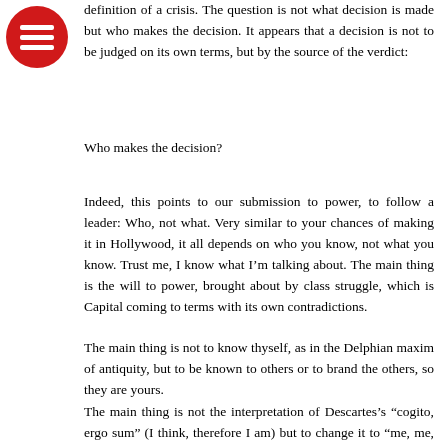[Figure (logo): Red circle with three horizontal white lines (hamburger menu icon)]
definition of a crisis. The question is not what decision is made but who makes the decision. It appears that a decision is not to be judged on its own terms, but by the source of the verdict:
Who makes the decision?
Indeed, this points to our submission to power, to follow a leader: Who, not what. Very similar to your chances of making it in Hollywood, it all depends on who you know, not what you know. Trust me, I know what I'm talking about. The main thing is the will to power, brought about by class struggle, which is Capital coming to terms with its own contradictions.
The main thing is not to know thyself, as in the Delphian maxim of antiquity, but to be known to others or to brand the others, so they are yours.
The main thing is not the interpretation of Descartes's “cogito, ergo sum” (I think, therefore I am) but to change it to “me, me, et ego” (Me, myself and I).